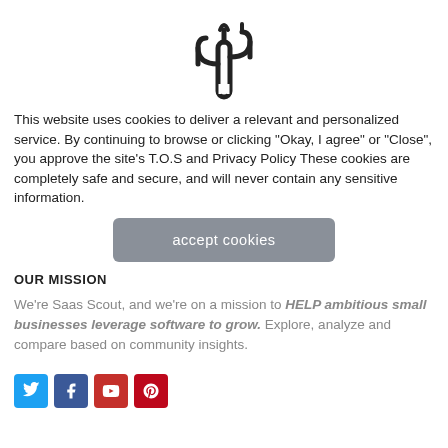[Figure (logo): Cactus outline icon in dark gray/black, centered at top of page]
This website uses cookies to deliver a relevant and personalized service. By continuing to browse or clicking "Okay, I agree" or "Close", you approve the site's T.O.S and Privacy Policy These cookies are completely safe and secure, and will never contain any sensitive information.
[Figure (other): Gray rounded rectangle button with text 'accept cookies']
OUR MISSION
We're Saas Scout, and we're on a mission to HELP ambitious small businesses leverage software to grow. Explore, analyze and compare based on community insights.
[Figure (other): Row of four social media icons: Twitter (blue), Facebook (dark blue), YouTube (red), Pinterest (red)]